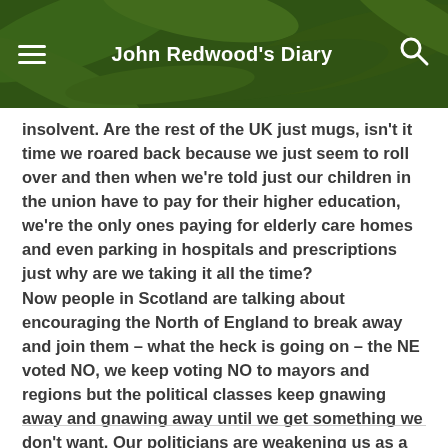John Redwood's Diary
insolvent. Are the rest of the UK just mugs, isn't it time we roared back because we just seem to roll over and then when we're told just our children in the union have to pay for their higher education, we're the only ones paying for elderly care homes and even parking in hospitals and prescriptions just why are we taking it all the time? Now people in Scotland are talking about encouraging the North of England to break away and join them – what the heck is going on – the NE voted NO, we keep voting NO to mayors and regions but the political classes keep gnawing away and gnawing away until we get something we don't want. Our politicians are weakening us as a nation.